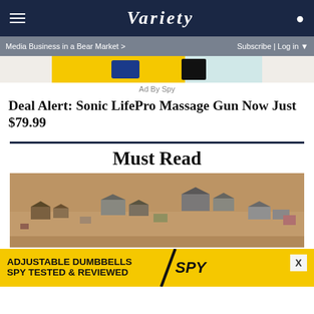VARIETY
Media Business in a Bear Market > Subscribe | Log in
[Figure (photo): Partial view of yellow and teal advertisement banner at top]
Ad By Spy
Deal Alert: Sonic LifePro Massage Gun Now Just $79.99
Must Read
[Figure (photo): Aerial photograph of a western movie set with rustic wooden buildings and structures on desert terrain — the Bonanza Creek Ranch filming location]
[Figure (photo): Bottom advertisement banner: ADJUSTABLE DUMBBELLS SPY TESTED & REVIEWED with SPY logo on yellow background]